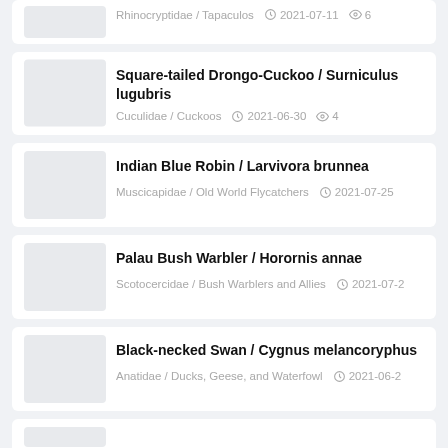Rhinocryptidae / Tapaculos  2021-07-11  6
Square-tailed Drongo-Cuckoo / Surniculus lugubris
Cuculidae / Cuckoos  2021-06-30  4
Indian Blue Robin / Larvivora brunnea
Muscicapidae / Old World Flycatchers  2021-07-25
Palau Bush Warbler / Horornis annae
Scotocercidae / Bush Warblers and Allies  2021-07-2
Black-necked Swan / Cygnus melancoryphus
Anatidae / Ducks, Geese, and Waterfowl  2021-06-2
(partial card at bottom)